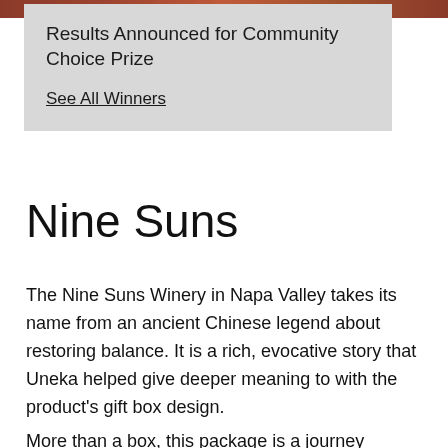[Figure (photo): Partial image at top of page showing warm rust/brown tones, appears to be a decorative banner or header image.]
Results Announced for Community Choice Prize
See All Winners
Nine Suns
The Nine Suns Winery in Napa Valley takes its name from an ancient Chinese legend about restoring balance. It is a rich, evocative story that Uneka helped give deeper meaning to with the product's gift box design.
More than a box, this package is a journey